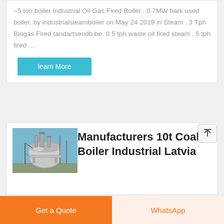~5 ton boiler Industrial Oil Gas Fired Boiler . 0.7MW bark used boiler. by industrialsteamboiler on May 24 2019 in Steam . 3 Tph Biogas Fired tandartsendb.be. 0 5 tph waste oil fired steam . 5 tph fired …
learn More
[Figure (photo): Industrial boiler equipment photo showing a large silver cylindrical boiler with pipes and scaffolding outdoors]
Manufacturers 10t Coal Boiler Industrial Latvia
Get a Quote
WhatsApp